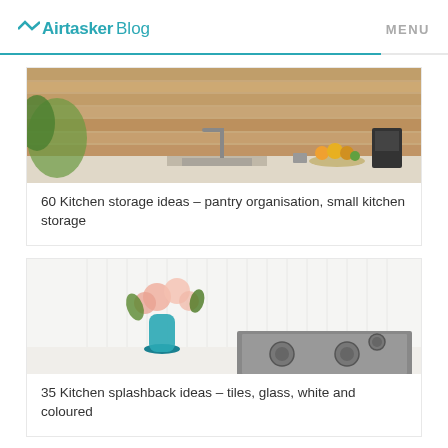Airtasker Blog | MENU
[Figure (photo): Kitchen counter with wooden tile backsplash, sink, and fruit bowl with blender]
60 Kitchen storage ideas – pantry organisation, small kitchen storage
[Figure (photo): Modern kitchen counter with teal vase of flowers and stainless steel gas stove]
35 Kitchen splashback ideas – tiles, glass, white and coloured
[Figure (photo): Outdoor table setting partially visible at bottom of page]